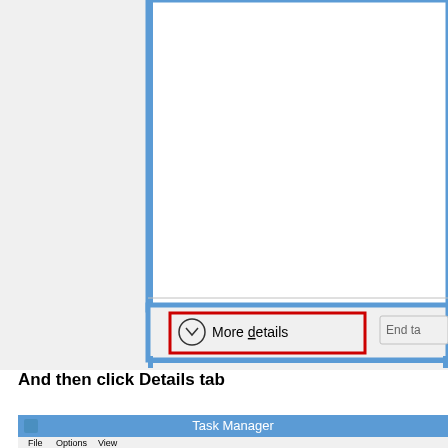[Figure (screenshot): Windows Task Manager dialog in simple/compact mode showing a white content area bordered by a blue frame. At the bottom of the dialog is a 'More details' button with a downward chevron icon, highlighted with a red rectangle outline. To the right is a partially visible 'End ta...' button. The dialog has a blue border.]
And then click Details tab
[Figure (screenshot): Windows Task Manager title bar showing 'Task Manager' centered in a blue title bar with a small icon to the left. Below it is a menu bar with File, Options, View menu items.]